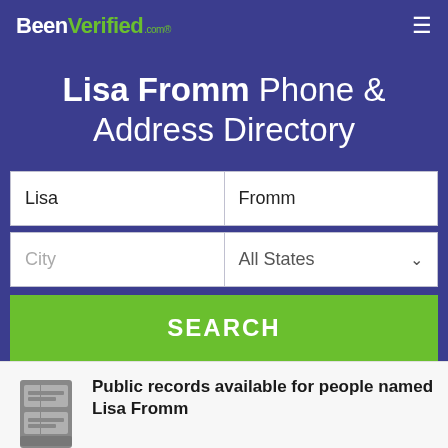BeenVerified.com
Lisa Fromm Phone & Address Directory
Lisa | Fromm
City | All States
SEARCH
Public records available for people named Lisa Fromm